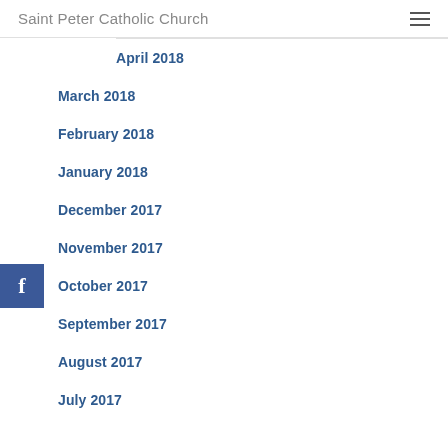Saint Peter Catholic Church
April 2018
March 2018
February 2018
January 2018
December 2017
November 2017
October 2017
September 2017
August 2017
July 2017